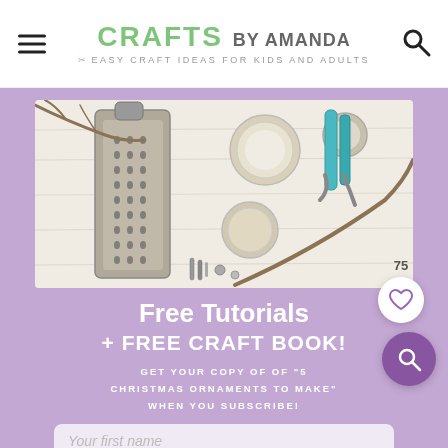CRAFTS BY AMANDA — EASY CRAFT IDEAS FOR KIDS AND ADULTS
[Figure (photo): Flat lay of craft supplies including a metal cheese grater, glass mason jar lids, teal-handled pruning shears, twigs, and miscellaneous small hardware on a white surface]
Free Tutorials + FREE CRAFT BOOK!
GET YOUR COPY OF OF "5 CHRISTMAS ORNAMENTS TO MAKE" WHEN YOU SUBSCRIBE!
Your first name